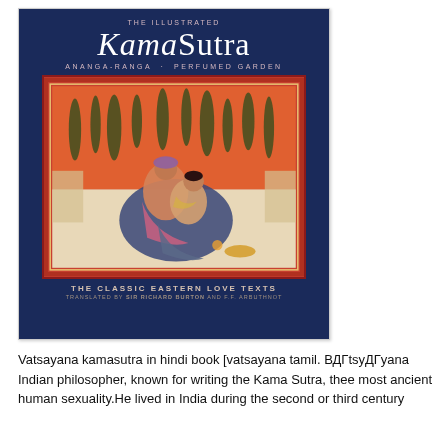[Figure (illustration): Book cover of 'The Illustrated Kama Sutra' with subtitle 'Ananga-Ranga · Perfumed Garden', described as 'The Classic Eastern Love Texts', translated by Sir Richard Burton and F.F. Arbuthnot. Cover features dark navy background with large ornate title text, and a central framed Mughal-style painting of two figures in an embrace against an orange background with stylized trees.]
Vatsayana kamasutra in hindi book [vatsayana tamil. ВДГtsyДГyana Indian philosopher, known for writing the Kama Sutra, thee most ancient human sexuality.He lived in India during the second or third century